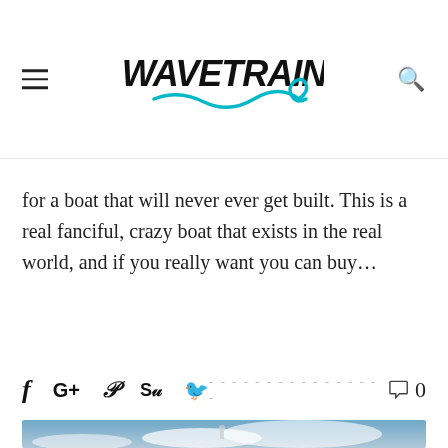WAVETRAIN (logo)
for a boat that will never ever get built. This is a real fanciful, crazy boat that exists in the real world, and if you really want you can buy...
[Figure (other): Social sharing icons bar: Facebook (f), Google+, Pinterest (P), StumbleUpon, Twitter (bird), followed by dashed line, comment bubble icon, and count 0]
[Figure (photo): Photo of a person standing on top of a boat with blue sky and clouds in the background]